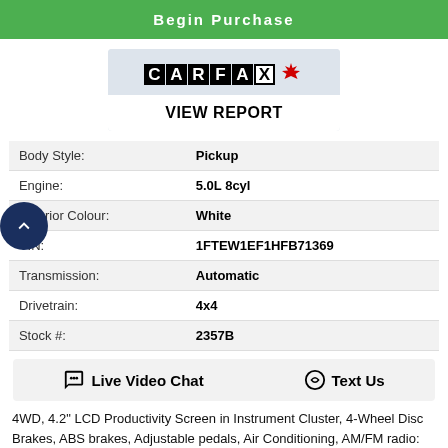Begin Purchase
[Figure (logo): CARFAX Canada logo with maple leaf and VIEW REPORT button]
| Field | Value |
| --- | --- |
| Body Style: | Pickup |
| Engine: | 5.0L 8cyl |
| Exterior Colour: | White |
| VIN: | 1FTEW1EF1HFB71369 |
| Transmission: | Automatic |
| Drivetrain: | 4x4 |
| Stock #: | 2357B |
Live Video Chat   Text Us
4WD, 4.2" LCD Productivity Screen in Instrument Cluster, 4-Wheel Disc Brakes, ABS brakes, Adjustable pedals, Air Conditioning, AM/FM radio: SiriusXM, Auto-dimming door mirrors, Auto-dimming Rear-View mirror,